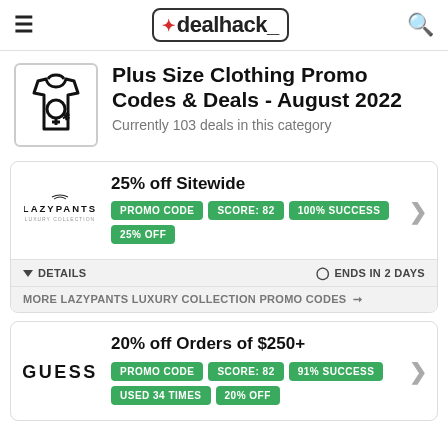dealhack_
Plus Size Clothing Promo Codes & Deals - August 2022
Currently 103 deals in this category
25% off Sitewide
PROMO CODE | SCORE: 82 | 100% SUCCESS | 25% OFF
DETAILS | ENDS IN 2 DAYS
MORE LAZYPANTS LUXURY COLLECTION PROMO CODES →
20% off Orders of $250+
PROMO CODE | SCORE: 82 | 91% SUCCESS | USED 34 TIMES | 20% OFF